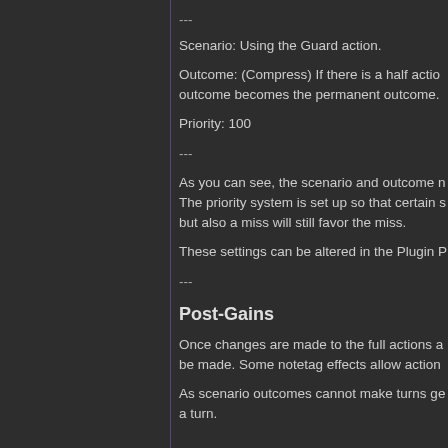---
Scenario: Using the Guard action.
Outcome: (Compress) If there is a half action outcome becomes the permanent outcome.
Priority: 100
---
As you can see, the scenario and outcome r The priority system is set up so that certain but also a miss will still favor the miss.
These settings can be altered in the Plugin P
---
Post-Gains
Once changes are made to the full actions a be made. Some notetag effects allow action
As scenario outcomes cannot make turns ge a turn.